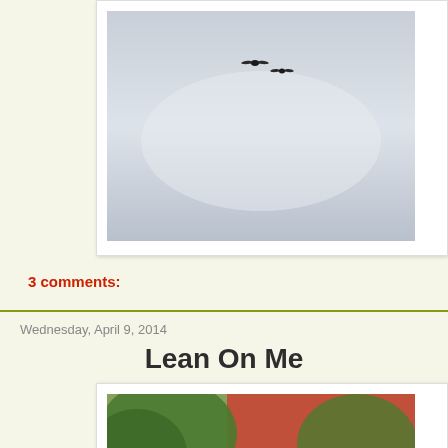[Figure (photo): Two birds flying in a pale overcast sky]
3 comments:
Wednesday, April 9, 2014
Lean On Me
[Figure (photo): An old weathered wooden barn with a rusted red metal roof, surrounded by green trees and overgrown vegetation]